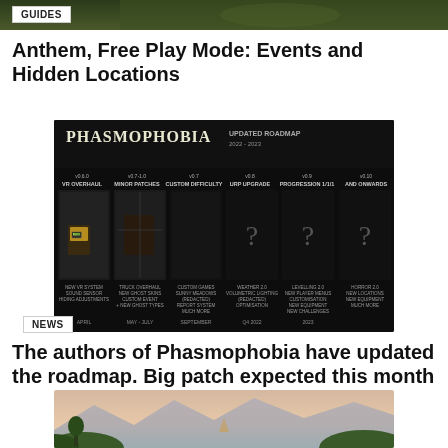[Figure (photo): Top banner image of a dark fantasy game scene with green foliage]
GUIDES
Anthem, Free Play Mode: Events and Hidden Locations
[Figure (screenshot): Phasmophobia Updated Roadmap 2022-2023 showing six update phases: VR Overhaul (April), Minor Patches (May-July), Custom Difficulty (September), URP Upgrade (Q4 2022), Progression 1/1/1 (2023), and onwards]
NEWS
The authors of Phasmophobia have updated the roadmap. Big patch expected this month
[Figure (photo): Fantasy landscape with mountains and trees at the bottom of the page]